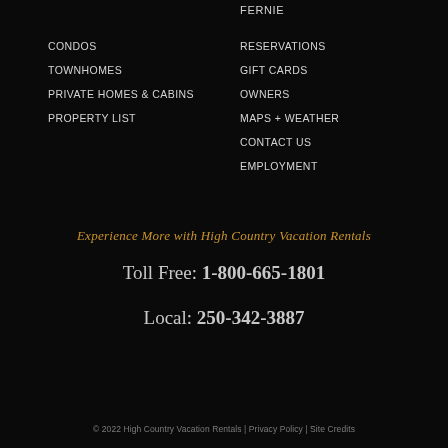FERNIE
CONDOS
TOWNHOMES
PRIVATE HOMES & CABINS
PROPERTY LIST
RESERVATIONS
GIFT CARDS
OWNERS
MAPS + WEATHER
CONTACT US
EMPLOYMENT
Experience More with High Country Vacation Rentals
Toll Free: 1-800-665-1801
Local: 250-342-3887
© 2022 High Country Vacation Rentals | Privacy Policy | Site Credits